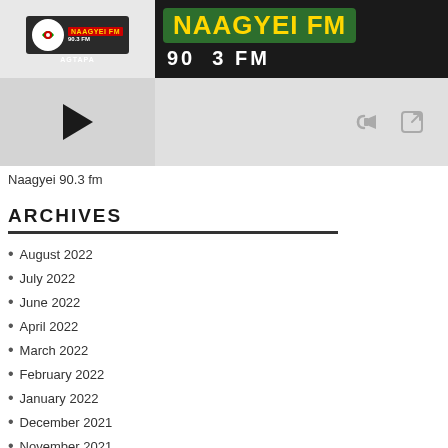[Figure (screenshot): Naagyei FM 90.3 radio player widget showing logo, play button, volume and external link controls]
Naagyei 90.3 fm
ARCHIVES
August 2022
July 2022
June 2022
April 2022
March 2022
February 2022
January 2022
December 2021
November 2021
October 2021
September 2021